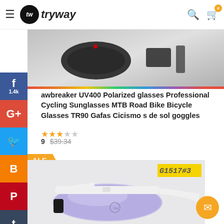tryway — navigation header with logo, search, and cart
[Figure (photo): Partial product image showing cycling sunglasses accessories at top of page]
awbreaker UV400 Polarized glasses Professional Cycling Sunglasses MTB Road Bike Bicycle Glasses TR90 Gafas Cicismo s de sol goggles
★★★☆☆
$39.34 (strikethrough)
SALE
[Figure (photo): White cycling sunglasses with purple/blue mirrored lens, product image with label G1517#3]